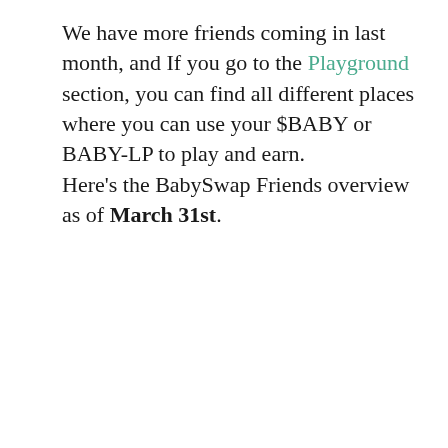We have more friends coming in last month, and If you go to the Playground section, you can find all different places where you can use your $BABY or BABY-LP to play and earn.
Here's the BabySwap Friends overview as of March 31st.